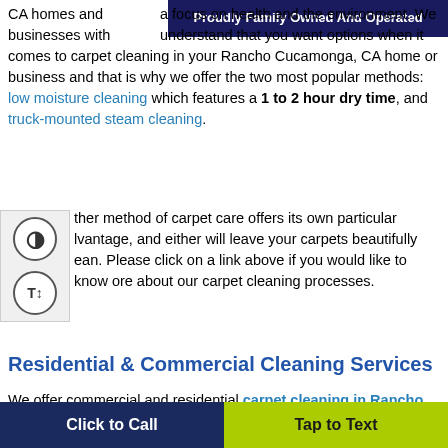Proudly Family Owned And Operated
CA homes and businesses with a focus on health and the environment. We understand that you want options when it comes to carpet cleaning in your Rancho Cucamonga, CA home or business and that is why we offer the two most popular methods: low moisture cleaning which features a 1 to 2 hour dry time, and truck-mounted steam cleaning.
ther method of carpet care offers its own particular lvantage, and either will leave your carpets beautifully ean. Please click on a link above if you would like to know ore about our carpet cleaning processes.
Residential & Commercial Cleaning Services
We offer commercial and residential carpet cleaning in Rancho Cucamonga,
Click to Call   Tap to Text